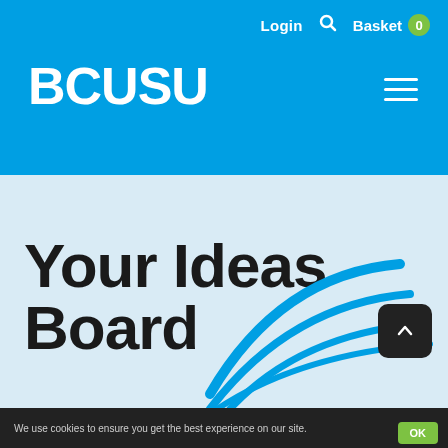Login  Search  Basket 0
BCUSU
Your Ideas Board
A place to post your ideas and vote on other students' ideas.
[Figure (illustration): Blue decorative arc lines forming a curved shape in the lower portion of the page]
We use cookies to ensure you get the best experience on our site.